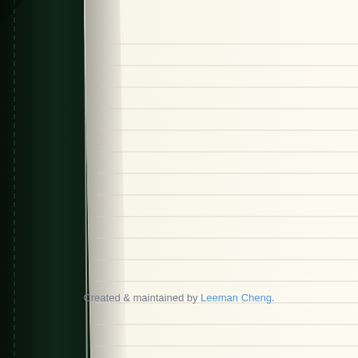[Figure (photo): Close-up photograph of a dark green/black leather-bound notebook lying open. The bottom-left corner and bottom edge of the notebook are visible, showing the dark cover with stitching detail. The open pages are cream/off-white with faint horizontal ruled lines. The notebook is set against a light gray background.]
Created & maintained by Leeman Cheng.